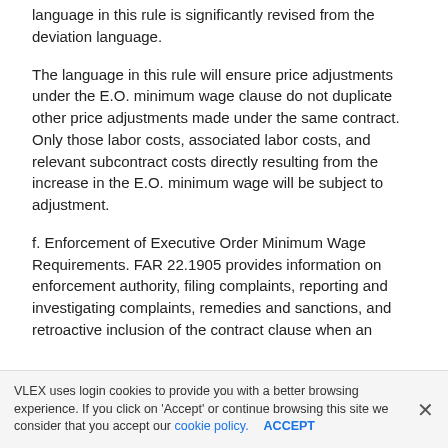language in this rule is significantly revised from the deviation language.
The language in this rule will ensure price adjustments under the E.O. minimum wage clause do not duplicate other price adjustments made under the same contract. Only those labor costs, associated labor costs, and relevant subcontract costs directly resulting from the increase in the E.O. minimum wage will be subject to adjustment.
f. Enforcement of Executive Order Minimum Wage Requirements. FAR 22.1905 provides information on enforcement authority, filing complaints, reporting and investigating complaints, remedies and sanctions, and retroactive inclusion of the contract clause when an
VLEX uses login cookies to provide you with a better browsing experience. If you click on 'Accept' or continue browsing this site we consider that you accept our cookie policy. ACCEPT